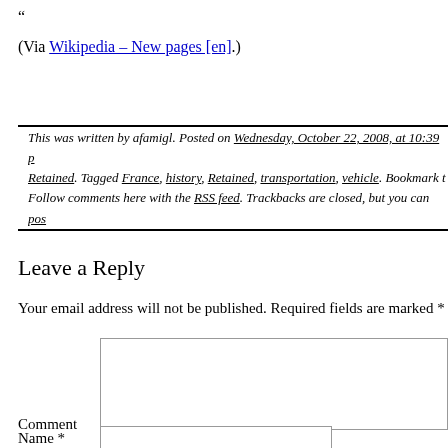“
(Via Wikipedia – New pages [en].)
This was written by afamigl. Posted on Wednesday, October 22, 2008, at 10:39 p... Retained. Tagged France, history, Retained, transportation, vehicle. Bookmark t... Follow comments here with the RSS feed. Trackbacks are closed, but you can pos...
Leave a Reply
Your email address will not be published. Required fields are marked *
Comment
Name *